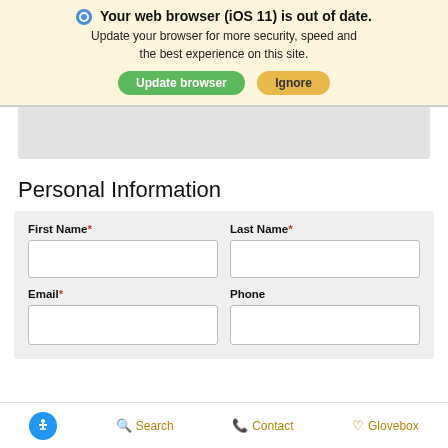Your web browser (iOS 11) is out of date. Update your browser for more security, speed and the best experience on this site.
Update browser | Ignore
Personal Information
| First Name* | Last Name* |
| (input) | (input) |
| Email* | Phone |
| (input) | (input) |
Search | Contact | Glovebox